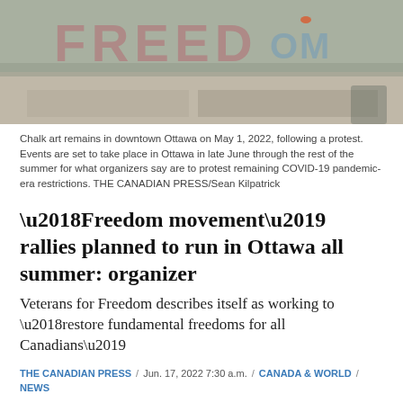[Figure (photo): Chalk art on concrete blocks in downtown Ottawa, May 1 2022, showing colorful graffiti-style lettering on stone slabs.]
Chalk art remains in downtown Ottawa on May 1, 2022, following a protest. Events are set to take place in Ottawa in late June through the rest of the summer for what organizers say are to protest remaining COVID-19 pandemic-era restrictions. THE CANADIAN PRESS/Sean Kilpatrick
‘Freedom movement’ rallies planned to run in Ottawa all summer: organizer
Veterans for Freedom describes itself as working to ‘restore fundamental freedoms for all Canadians’
THE CANADIAN PRESS / Jun. 17, 2022 7:30 a.m. / CANADA & WORLD / NEWS
[Figure (other): Row of social sharing buttons: Facebook (blue), Twitter (light blue), Reddit (orange), Email (grey), Print (grey), Comment (grey), Photo (dark grey). Plus a dark grey scroll-to-top arrow button.]
Events are set to take place in Ottawa late June through